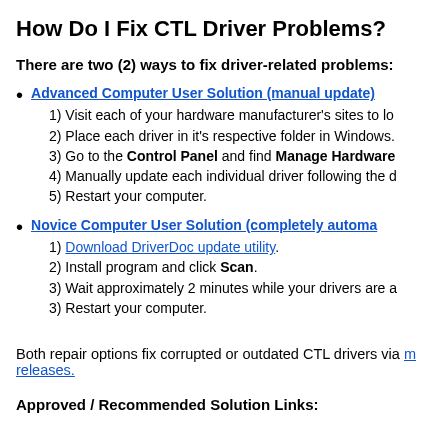How Do I Fix CTL Driver Problems?
There are two (2) ways to fix driver-related problems:
Advanced Computer User Solution (manual update)
1) Visit each of your hardware manufacturer's sites to lo...
2) Place each driver in it's respective folder in Windows.
3) Go to the Control Panel and find Manage Hardware...
4) Manually update each individual driver following the d...
5) Restart your computer.
Novice Computer User Solution (completely automa...
1) Download DriverDoc update utility.
2) Install program and click Scan.
3) Wait approximately 2 minutes while your drivers are a...
3) Restart your computer.
Both repair options fix corrupted or outdated CTL drivers via m... releases.
Approved / Recommended Solution Links: